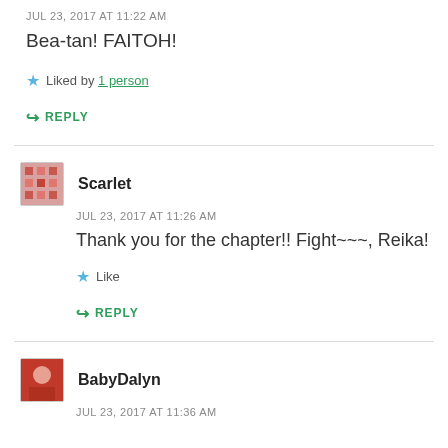JUL 23, 2017 AT 11:22 AM
Bea-tan! FAITOH!
★ Liked by 1 person
↪ REPLY
Scarlet
JUL 23, 2017 AT 11:26 AM
Thank you for the chapter!! Fight~~~, Reika!
★ Like
↪ REPLY
BabyDalyn
JUL 23, 2017 AT 11:36 AM